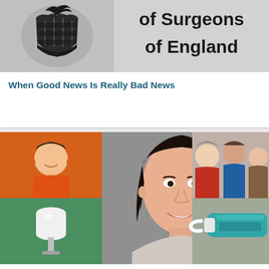[Figure (photo): Royal College of Surgeons of England logo/header image, showing a crest with a bird and the text 'of Surgeons of England' on a grey background]
When Good News Is Really Bad News
[Figure (photo): NIH dental health collage image showing a smiling woman in the center, a man smiling bottom-left, a tooth implant illustration bottom-left, a group of people top-right, and a toothpaste tube bottom-right]
NIH Report Cites Fluoridation's Impact and Importance